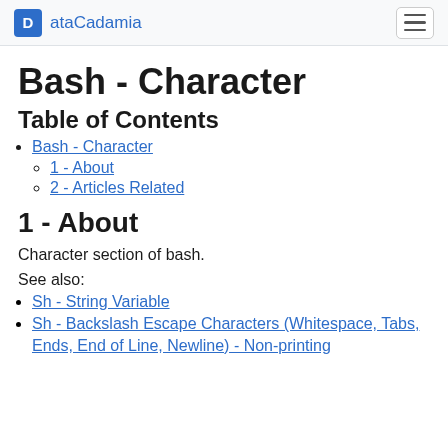ataCadamia
Bash - Character
Table of Contents
Bash - Character
1 - About
2 - Articles Related
1 - About
Character section of bash.
See also:
Sh - String Variable
Sh - Backslash Escape Characters (Whitespace, Tabs, Ends, End of Line, Newline) - Non-printing